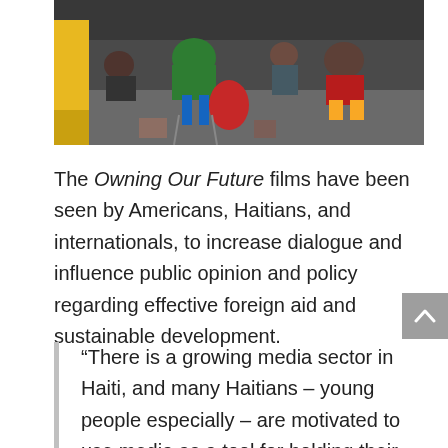[Figure (photo): People sitting in a room, some wearing colorful clothing including green and red, with bags on the floor, in what appears to be a classroom or meeting space with yellow furniture visible in the background.]
The Owning Our Future films have been seen by Americans, Haitians, and internationals, to increase dialogue and influence public opinion and policy regarding effective foreign aid and sustainable development.
“There is a growing media sector in Haiti, and many Haitians – young people especially – are motivated to use media as a tool for holding their government and the international community accountable to